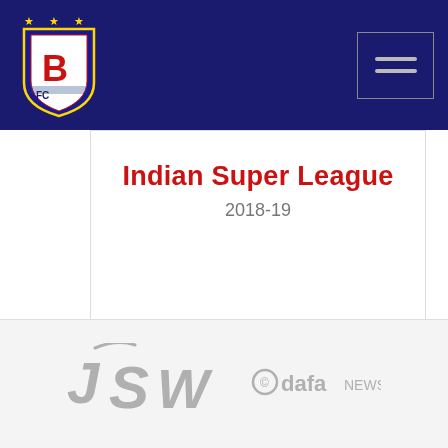Bengaluru FC - Indian Super League 2018-19
Indian Super League
2018-19
[Figure (logo): SECURED by MalCare security badge with padlock icon and blue striped lines]
[Figure (logo): JSW logo in grey]
[Figure (logo): dafaNEWS logo in grey with circular icon]